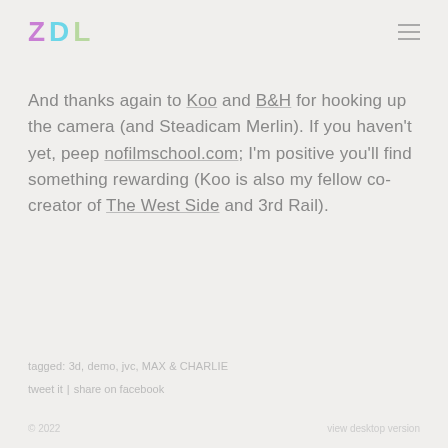ZDL
And thanks again to Koo and B&H for hooking up the camera (and Steadicam Merlin). If you haven't yet, peep nofilmschool.com; I'm positive you'll find something rewarding (Koo is also my fellow co-creator of The West Side and 3rd Rail).
tagged: 3d, demo, jvc, MAX & CHARLIE
tweet it | share on facebook
© 2022   view desktop version